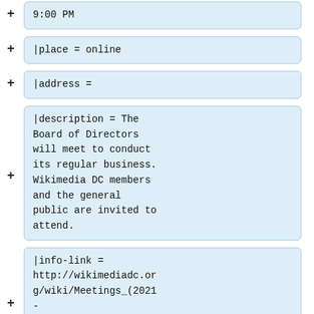9:00 PM
|place = online
|address =
|description = The Board of Directors will meet to conduct its regular business. Wikimedia DC members and the general public are invited to attend.
|info-link = http://wikimediadc.org/wiki/Meetings_(2021-2022)#Meetings_of_the_Board_of_Directors
|rsvp-link =